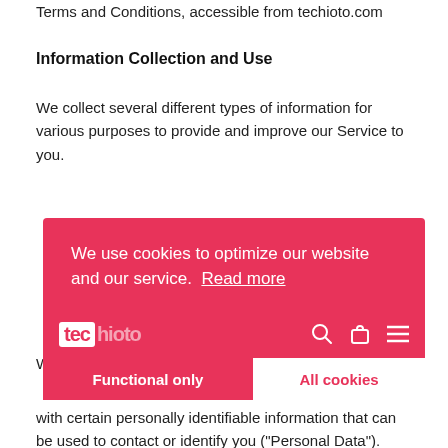Terms and Conditions, accessible from techioto.com
Information Collection and Use
We collect several different types of information for various purposes to provide and improve our Service to you.
[Figure (screenshot): Cookie consent banner overlay in pink/red background showing: 'We use cookies to optimize our website and our service. Read more' with two buttons: 'Functional only' and 'All cookies'. Below the banner is a website navigation bar with a logo 'techioto' and icons.]
While using our Service, we may ask you to provide us with certain personally identifiable information that can be used to contact or identify you ("Personal Data"). Personally identifiable information may include, but is not limited to:
Email address, First name and last name, Phone number, Address, State, Province, ZIP/Postal code, City, Cookies